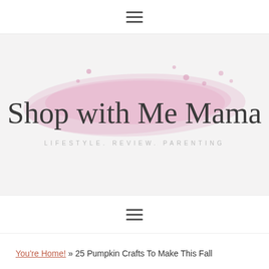☰
[Figure (logo): Shop with Me Mama blog logo with pink watercolor brush stroke background and script text, subtitle: LIFESTYLE. REVIEW. PARENTING]
☰
You're Home! » 25 Pumpkin Crafts To Make This Fall